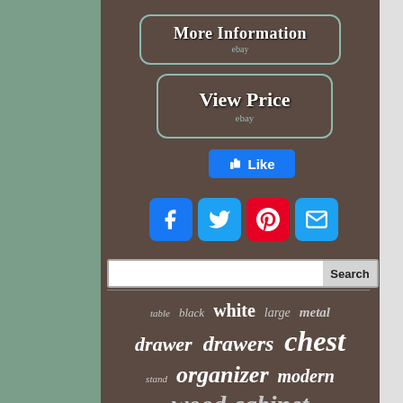[Figure (screenshot): More Information button with eBay branding, rounded rectangle with teal border on dark brown background]
[Figure (screenshot): View Price button with eBay branding, rounded rectangle with teal border on dark brown background]
[Figure (screenshot): Facebook Like button in blue]
[Figure (screenshot): Social sharing icons row: Facebook, Twitter, Pinterest, Email]
[Figure (screenshot): Search bar with input field and Search button]
[Figure (infographic): Tag cloud with furniture-related keywords: table, black, white, large, metal, drawer, drawers, chest, stand, organizer, modern, wood, cabinet - displayed in varying sizes indicating search popularity]